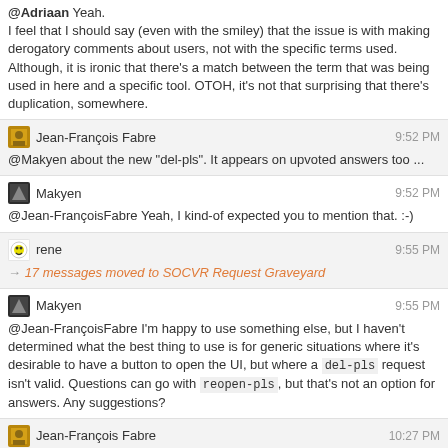@Adriaan Yeah.
I feel that I should say (even with the smiley) that the issue is with making derogatory comments about users, not with the specific terms used. Although, it is ironic that there's a match between the term that was being used in here and a specific tool. OTOH, it's not that surprising that there's duplication, somewhere.
Jean-François Fabre 9:52 PM
@Makyen about the new "del-pls". It appears on upvoted answers too ...
Makyen 9:52 PM
@Jean-FrançoisFabre Yeah, I kind-of expected you to mention that. :-)
rene 9:55 PM
→ 17 messages moved to SOCVR Request Graveyard
Makyen 9:55 PM
@Jean-FrançoisFabre I'm happy to use something else, but I haven't determined what the best thing to use is for generic situations where it's desirable to have a button to open the UI, but where a del-pls request isn't valid. Questions can go with reopen-pls, but that's not an option for answers. Any suggestions?
Jean-François Fabre 10:27 PM
@Makyen downvote-pls ? :)
or maybe spam flag pls?
← prev day
next day →
last day »
join this room